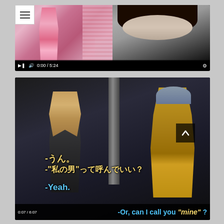[Figure (screenshot): Top video player showing two thumbnail panels side by side — left panel shows a person in pink/red swimwear, right panel shows a person with dark hair from shoulders up. Video controls show playback button, volume icon, timestamp '0:00 / 5:24', and settings gear icon.]
[Figure (screenshot): Bottom video player showing a scene of a young woman with long blonde hair in a dark outfit facing a young man in a yellow tank top and backwards grey cap, outdoors. Japanese subtitles read '-うん。' and '-"私の男"って呼んでいい？' with English subtitle '-Yeah.' and partial bottom subtitle 'Or, can I call you "mine"?' with timestamp '0:07 / 6:07'.]